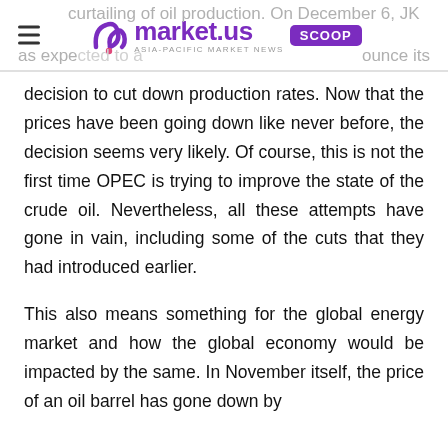market.us SCOOP
curtailing of oil production. On December 6, JK was expected to announce its decision to cut down production rates. Now that the prices have been going down like never before, the decision seems very likely. Of course, this is not the first time OPEC is trying to improve the state of the crude oil. Nevertheless, all these attempts have gone in vain, including some of the cuts that they had introduced earlier.
This also means something for the global energy market and how the global economy would be impacted by the same. In November itself, the price of an oil barrel has gone down by